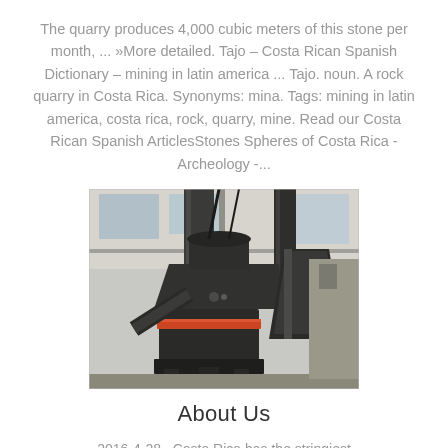The quarry produces 4,000 cubic meters of this stone per month, ... »More detailed. Tajo – Costa Rican Spanish Dictionary – mining in latin america ... Tajo. noun. A rock quarry in Costa Rica. Synonyms: mina. Tags: mining in latin america, costa rica, rock, quarry, mine. Read our Costa Rican Spanish ArticlesStones Spheres of Costa Rica - Archeology -...
[Figure (photo): Industrial mining/crushing machine in a facility, showing a large dark conical crusher with orange ring detail and metal pipes/ducts in a warehouse-like setting.]
About Us
2016-4-28 · Costa Rica has the stringiest